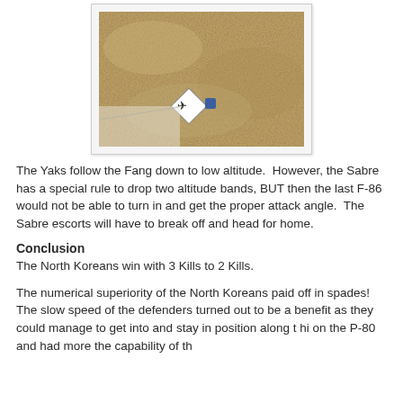[Figure (photo): Top-down photograph of a tan/sandy textured surface with a small game piece or token bearing an aircraft silhouette icon placed on it, and a small blue die or token nearby. Appears to be a wargame board.]
The Yaks follow the Fang down to low altitude.  However, the Sabre has a special rule to drop two altitude bands, BUT then the last F-86 would not be able to turn in and get the proper attack angle.  The Sabre escorts will have to break off and head for home.
Conclusion
The North Koreans win with 3 Kills to 2 Kills.
The numerical superiority of the North Koreans paid off in spades!  The slow speed of the defenders turned out to be a benefit as they could manage to get into and stay in position along t hi on the P-80 and had more the capability of the